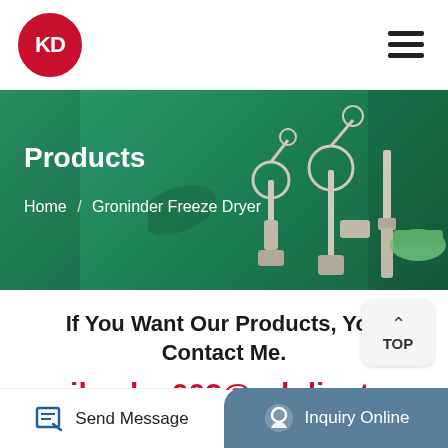[Figure (logo): KD logo: red circle with white KD letters]
[Figure (illustration): Hamburger menu icon (three horizontal lines)]
[Figure (photo): Green banner with lab equipment (rotary evaporators) silhouettes on right side]
Products
Home / Groninder Freeze Dryer
If You Want Our Products, You Contact Me.
email:sales002@zzkdinstu
[Figure (other): TOP button with upward arrow]
[Figure (photo): Product images: lab equipment pieces, with Popular ribbon badge]
Send Message
Inquiry Online